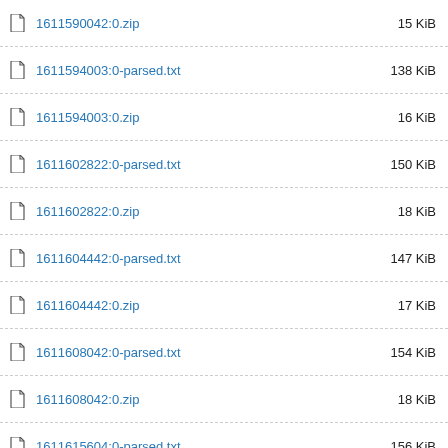1611590042:0.zip   15 KiB
1611594003:0-parsed.txt   138 KiB
1611594003:0.zip   16 KiB
1611602822:0-parsed.txt   150 KiB
1611602822:0.zip   18 KiB
1611604442:0-parsed.txt   147 KiB
1611604442:0.zip   17 KiB
1611608042:0-parsed.txt   154 KiB
1611608042:0.zip   18 KiB
1611615604:0-parsed.txt   156 KiB
1611615604:0.zip   18 KiB
1611618842:0-parsed.txt   156 KiB